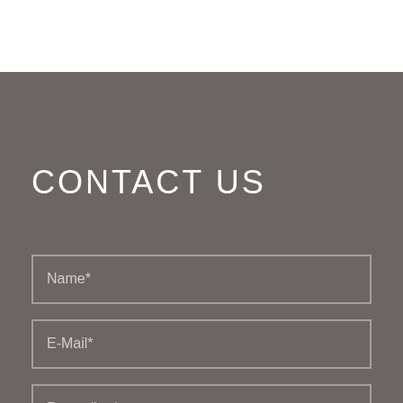CONTACT US
Name*
E-Mail*
Regarding*